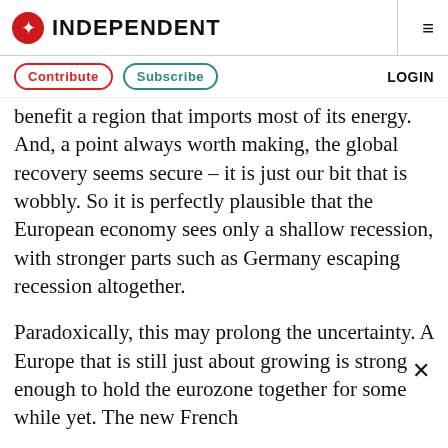INDEPENDENT
Contribute  Subscribe  LOGIN
benefit a region that imports most of its energy. And, a point always worth making, the global recovery seems secure – it is just our bit that is wobbly. So it is perfectly plausible that the European economy sees only a shallow recession, with stronger parts such as Germany escaping recession altogether.
Paradoxically, this may prolong the uncertainty. A Europe that is still just about growing is strong enough to hold the eurozone together for some while yet. The new French